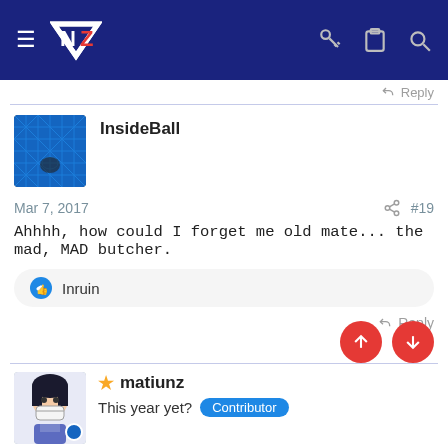[Figure (screenshot): Website navigation bar with dark blue background, hamburger menu, NZ logo, key icon, clipboard icon, and search icon]
Reply
[Figure (photo): Avatar image for user InsideBall showing a blue hexagonal grid pattern]
InsideBall
Mar 7, 2017
#19
Ahhhh, how could I forget me old mate... the mad, MAD butcher.
Inruin
Reply
[Figure (photo): Avatar image for user matiunz showing an anime-style character with mask]
matiunz
This year yet? Contributor